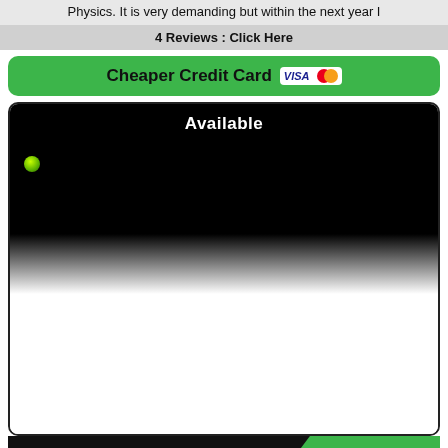Physics. It is very demanding but within the next year I
4 Reviews : Click Here
Cheaper Credit Card
[Figure (screenshot): Black video player area with 'Available' text in white and a green dot indicator, fading to white below]
Roxy
Pin : 8013
Call : 0908 145 3111